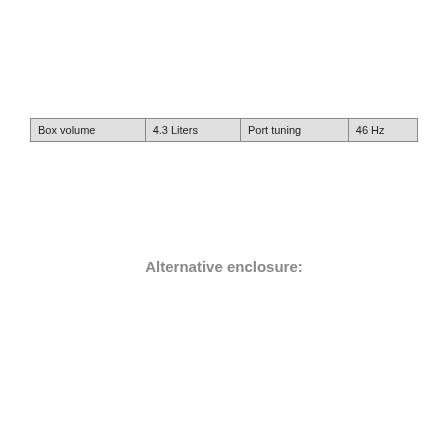| Box volume | 4.3 Liters | Port tuning | 46 Hz |
Alternative enclosure: